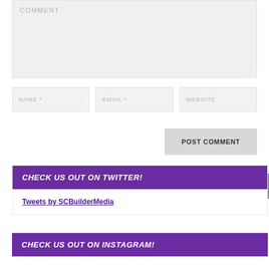[Figure (screenshot): Comment textarea input box with placeholder text COMMENT and resize handle at bottom right]
[Figure (screenshot): Three input fields: NAME *, EMAIL *, WEBSITE]
[Figure (screenshot): POST COMMENT button]
CHECK US OUT ON TWITTER!
Tweets by SCBuilderMedia
CHECK US OUT ON INSTAGRAM!